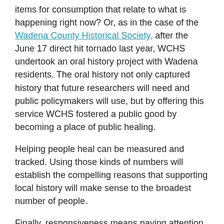items for consumption that relate to what is happening right now? Or, as in the case of the Wadena County Historical Society, after the June 17 direct hit tornado last year, WCHS undertook an oral history project with Wadena residents. The oral history not only captured history that future researchers will need and public policymakers will use, but by offering this service WCHS fostered a public good by becoming a place of public healing.
Helping people heal can be measured and tracked. Using those kinds of numbers will establish the compelling reasons that supporting local history will make sense to the broadest number of people.
Finally, responsiveness means paying attention to public capacity to support our missions. Even if local history does all as stated above, money and space that money might buy are finite resources.
A number of years ago local history services staff helped plan a new storage building for one organization. That building was designed to meet the needs of the organization for another ten